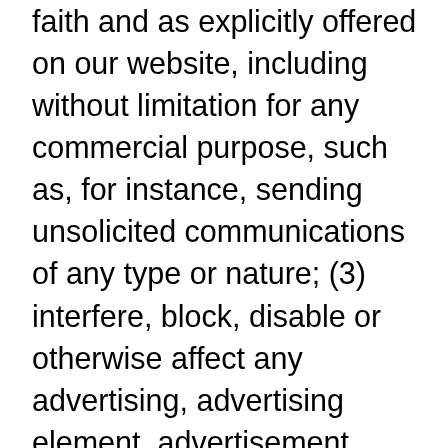faith and as explicitly offered on our website, including without limitation for any commercial purpose, such as, for instance, sending unsolicited communications of any type or nature; (3) interfere, block, disable or otherwise affect any advertising, advertising element, advertisement banner window, links to other sites and services, or other features that constitute an integral part of the Services; and (4) incorporate, integrate or otherwise include any portion of the Services that is comprised of software into any software, program or product that communicates, accesses, or otherwise connects with the Services or any other instant messaging, Internet, or online service. Finally, you may not assist,